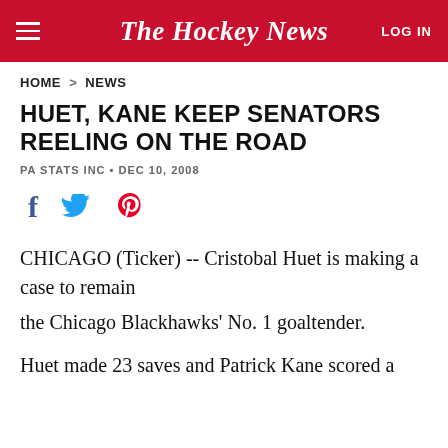The Hockey News
HOME > NEWS
HUET, KANE KEEP SENATORS REELING ON THE ROAD
PA STATS INC • DEC 10, 2008
[Figure (infographic): Social sharing icons: Facebook (f), Twitter bird, Pinterest (p)]
CHICAGO (Ticker) -- Cristobal Huet is making a case to remain
the Chicago Blackhawks' No. 1 goaltender.
Huet made 23 saves and Patrick Kane scored a